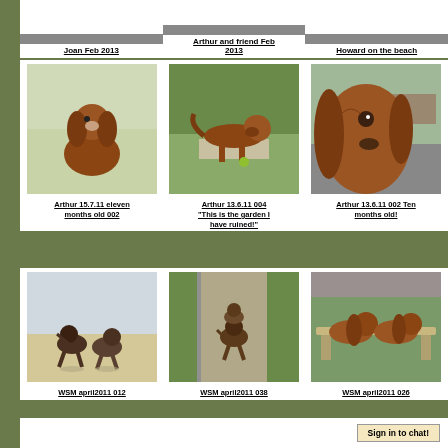Joan Feb 2013
Arthur and friend Feb 2013
Howard on the beach
[Figure (photo): Dog sitting in garden - Arthur 15.7.11 eleven months old 002]
[Figure (photo): Dog in garden - Arthur 13.6.11 004 This is the garden I have ruined!]
[Figure (photo): Dog close up portrait - Arthur 13.6.11 002 Ten months old!]
Arthur 15.7.11 eleven months old 002
Arthur 13.6.11 004 "This is the garden I have ruined!"
Arthur 13.6.11 002 Ten months old!
[Figure (photo): Two dogs playing on beach - WSM april2011 012]
[Figure (photo): Dogs on path - WSM april2011 038]
[Figure (photo): Two dogs on bench - WSM april2011 026]
WSM april2011 012
WSM april2011 038
WSM april2011 026
Sign in to chat!